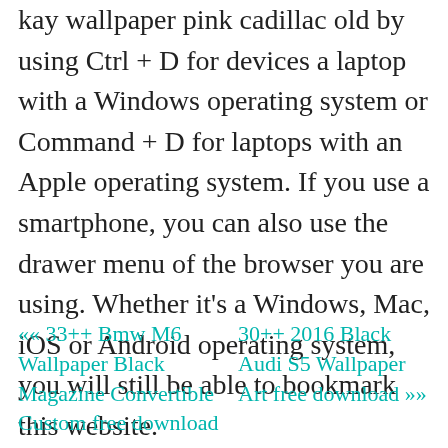kay wallpaper pink cadillac old by using Ctrl + D for devices a laptop with a Windows operating system or Command + D for laptops with an Apple operating system. If you use a smartphone, you can also use the drawer menu of the browser you are using. Whether it's a Windows, Mac, iOS or Android operating system, you will still be able to bookmark this website.
«« 33++ Bmw M6 Wallpaper Black Magazine Convertible Custom free download
30++ 2016 Black Audi S5 Wallpaper Art free download »»